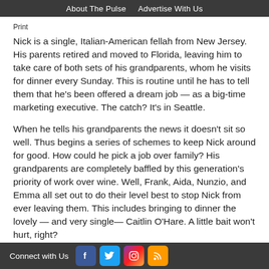About The Pulse   Advertise With Us
Print
Nick is a single, Italian-American fellah from New Jersey. His parents retired and moved to Florida, leaving him to take care of both sets of his grandparents, whom he visits for dinner every Sunday. This is routine until he has to tell them that he's been offered a dream job — as a big-time marketing executive. The catch? It's in Seattle.
When he tells his grandparents the news it doesn't sit so well. Thus begins a series of schemes to keep Nick around for good. How could he pick a job over family? His grandparents are completely baffled by this generation's priority of work over wine. Well, Frank, Aida, Nunzio, and Emma all set out to do their level best to stop Nick from ever leaving them. This includes bringing to dinner the lovely — and very single— Caitlin O'Hare. A little bait won't hurt, right?
Connect with Us